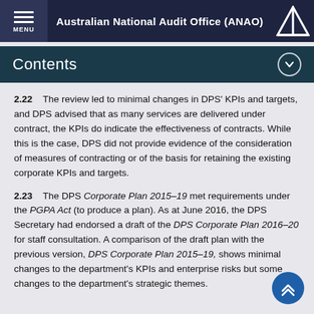Australian National Audit Office (ANAO)
Contents
2.22    The review led to minimal changes in DPS' KPIs and targets, and DPS advised that as many services are delivered under contract, the KPIs do indicate the effectiveness of contracts. While this is the case, DPS did not provide evidence of the consideration of measures of contracting or of the basis for retaining the existing corporate KPIs and targets.
2.23    The DPS Corporate Plan 2015–19 met requirements under the PGPA Act (to produce a plan). As at June 2016, the DPS Secretary had endorsed a draft of the DPS Corporate Plan 2016–20 for staff consultation. A comparison of the draft plan with the previous version, DPS Corporate Plan 2015–19, shows minimal changes to the department's KPIs and enterprise risks but some changes to the department's strategic themes.